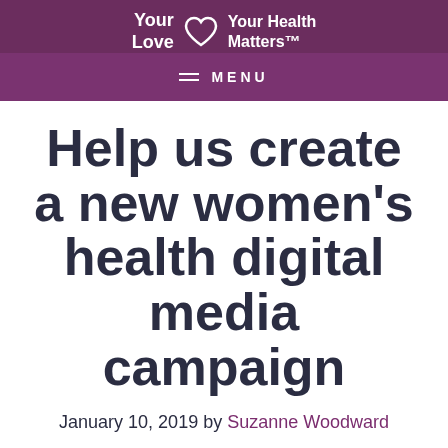Your Love Your Health Matters™ MENU
Help us create a new women's health digital media campaign
January 10, 2019 by Suzanne Woodward